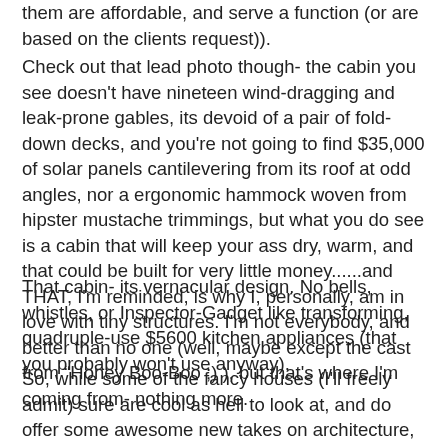them are affordable, and serve a function (or are based on the clients request)).
Check out that lead photo though- the cabin you see doesn't have nineteen wind-dragging and leak-prone gables, its devoid of a pair of fold-down decks, and you're not going to find $35,000 of solar panels cantilevering from its roof at odd angles, nor a ergonomic hammock woven from hipster mustache trimmings, but what you do see is a cabin that will keep your ass dry, warm, and that could be built for very little money......and THAT, I'm reminded, is why I, personally, am in love with tiny structures. I'm not everybody, and better than no one (well, maybe except the cast from "Honey Boo-Boo ;) ), but that's where I'm coming from- nothing more.
That cabin- its vernacular design. No bells, whistles, or Inspector-Gadget like transforming, quadruple-use $5600 kitchen appliances (that you probably won't use anyway).
So, while some of the fancy houses (I'll freely admit) sure are cool as hell to look at, and do offer some awesome new takes on architecture, I'm simply reminding you to at least consider to KEEP SHIT SIMPLE. It comes down to when